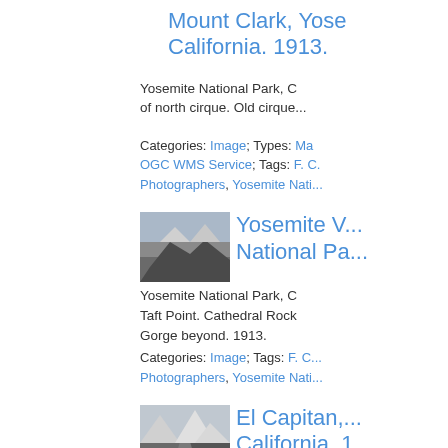Mount Clark, Yosemite National Park, California. 1913.
Yosemite National Park, California. View of north cirque. Old cirque...
Categories: Image; Types: Map, OGC WMS Service; Tags: F. C. ..., Photographers, Yosemite Natio...
[Figure (photo): Thumbnail photo of Yosemite Valley, Yosemite National Park]
Yosemite V... National Pa...
Yosemite National Park, California. Taft Point. Cathedral Rock. Gorge beyond. 1913.
Categories: Image; Tags: F. C. ..., Photographers, Yosemite Natio...
[Figure (photo): Thumbnail photo of El Capitan, Yosemite National Park, California]
El Capitan, California. 1...
Yosemite National Park, California. View from the southe...
Categories: Image; Types: Ma...